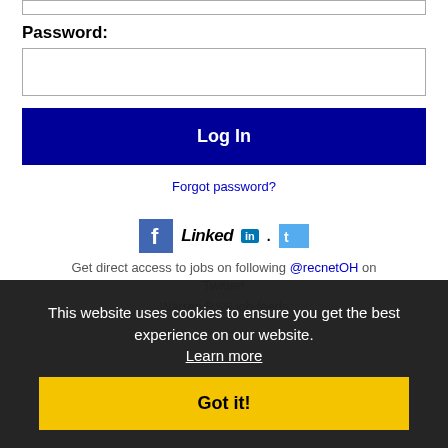[Input box top]
Password:
[Password input box]
Log In
Forgot password?
[Figure (logo): Facebook icon, LinkedIn logo, Twitter icon social media logos]
Get direct access to jobs on following @recnetOH on Twitter!
Warren RSS job feeds
This website uses cookies to ensure you get the best experience on our website. Learn more
Got it!